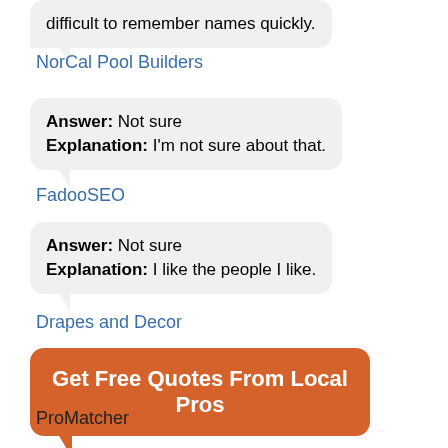difficult to remember names quickly.
NorCal Pool Builders
Answer: Not sure
Explanation: I'm not sure about that.
FadooSEO
Answer: Not sure
Explanation: I like the people I like.
Drapes and Decor
[Figure (other): Orange speech bubble button with text: Get Free Quotes From Local Pros]
ProMatcher
Answer: Yes
Explanation: A little laugh here, "people like me"!